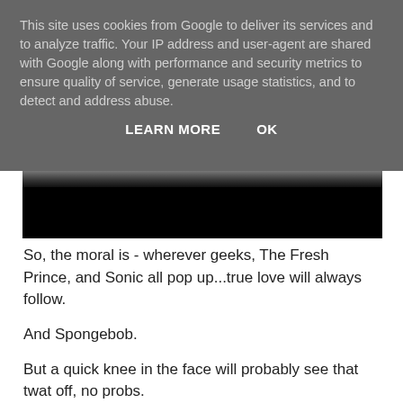This site uses cookies from Google to deliver its services and to analyze traffic. Your IP address and user-agent are shared with Google along with performance and security metrics to ensure quality of service, generate usage statistics, and to detect and address abuse.
LEARN MORE    OK
[Figure (photo): Partial image of a scene, mostly black/dark area at the top of the visible content area]
So, the moral is - wherever geeks, The Fresh Prince, and Sonic all pop up...true love will always follow.
And Spongebob.
But a quick knee in the face will probably see that twat off, no probs.
Tom Charnock at July 28, 2006    6 comments:
Share